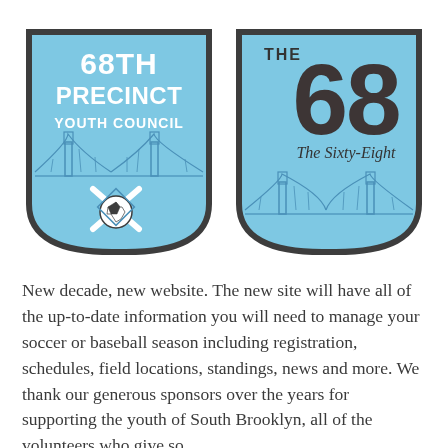[Figure (logo): Two shield-shaped logos side by side. Left shield: light blue background with dark border, text '68TH PRECINCT YOUTH COUNCIL' in white bold, Golden Gate Bridge illustration in blue line art, crossed baseball bats and soccer ball icon below. Right shield: light blue background with dark border, large '68' in dark brown/charcoal with 'THE' above and 'The Sixty-Eight' below in dark text, Golden Gate Bridge illustration in blue line art below.]
New decade, new website. The new site will have all of the up-to-date information you will need to manage your soccer or baseball season including registration, schedules, field locations, standings, news and more. We thank our generous sponsors over the years for supporting the youth of South Brooklyn, all of the volunteers who give so…